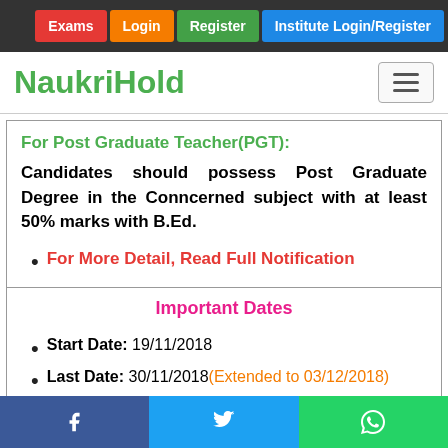Exams | Login | Register | Institute Login/Register
NaukriHold
For Post Graduate Teacher(PGT):
Candidates should possess Post Graduate Degree in the Conncerned subject with at least 50% marks with B.Ed.
For More Detail, Read Full Notification
Important Dates
Start Date: 19/11/2018
Last Date: 30/11/2018(Extended to 03/12/2018)
Facebook | Twitter | WhatsApp